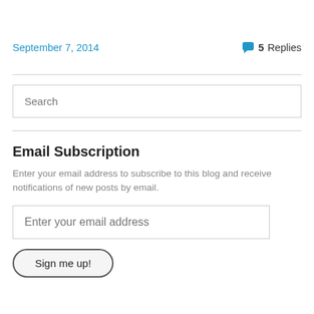September 7, 2014
💬 5 Replies
Search
Email Subscription
Enter your email address to subscribe to this blog and receive notifications of new posts by email.
Enter your email address
Sign me up!